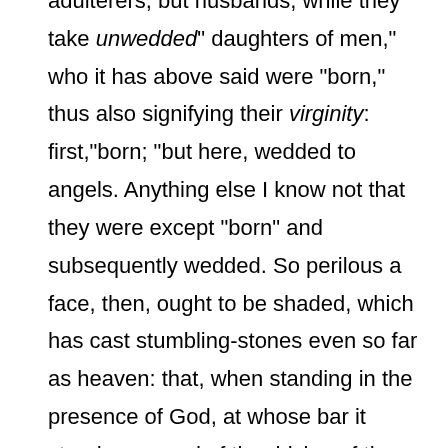adulterers, but husbands, while they take unwedded" daughters of men," who it has above said were "born," thus also signifying their virginity: first,"born; "but here, wedded to angels. Anything else I know not that they were except "born" and subsequently wedded. So perilous a face, then, ought to be shaded, which has cast stumbling-stones even so far as heaven: that, when standing in the presence of God, at whose bar it stands accused of the driving of the angels from their (native) confines, it may blush before the other angels as